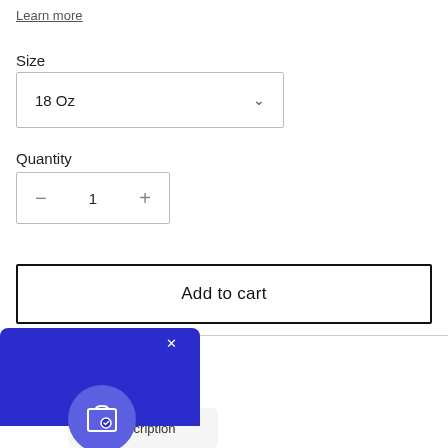Learn more
Size
18 Oz
Quantity
− 1 +
Add to cart
tions available in checkout.
to Ashburn, VA ∨
Description